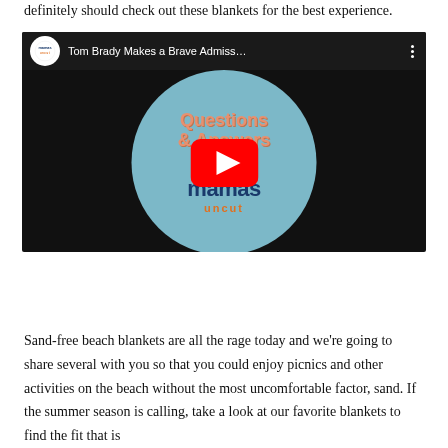definitely should check out these blankets for the best experience.
[Figure (screenshot): YouTube video thumbnail for 'Tom Brady Makes a Brave Admiss...' from mamas uncut channel. The thumbnail shows a light blue circle on a dark background with text 'Questions & Answers With' in retro orange font, and the mamas uncut logo. A YouTube play button is centered over the thumbnail.]
Sand-free beach blankets are all the rage today and we're going to share several with you so that you could enjoy picnics and other activities on the beach without the most uncomfortable factor, sand. If the summer season is calling, take a look at our favorite blankets to find the fit that is